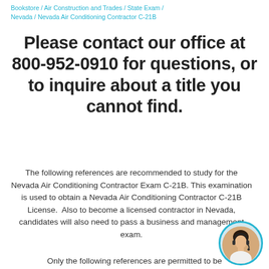Bookstore / Air Construction and Trades / State Exam / Nevada / Nevada Air Conditioning Contractor C-21B
Please contact our office at 800-952-0910 for questions, or to inquire about a title you cannot find.
The following references are recommended to study for the Nevada Air Conditioning Contractor Exam C-21B. This examination is used to obtain a Nevada Air Conditioning Contractor C-21B License. Also to become a licensed contractor in Nevada, candidates will also need to pass a business and management exam.
Only the following references are permitted to be